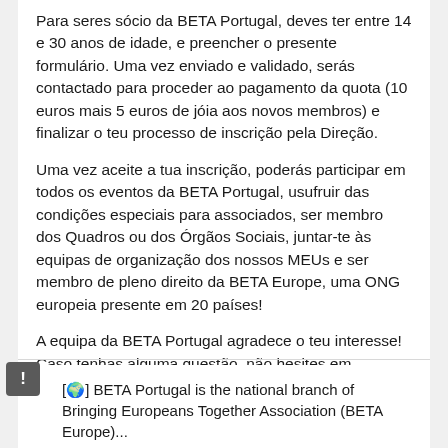Para seres sócio da BETA Portugal, deves ter entre 14 e 30 anos de idade, e preencher o presente formulário. Uma vez enviado e validado, serás contactado para proceder ao pagamento da quota (10 euros mais 5 euros de jóia aos novos membros) e finalizar o teu processo de inscrição pela Direção.
Uma vez aceite a tua inscrição, poderás participar em todos os eventos da BETA Portugal, usufruir das condições especiais para associados, ser membro dos Quadros ou dos Órgãos Sociais, juntar-te às equipas de organização dos nossos MEUs e ser membro de pleno direito da BETA Europe, uma ONG europeia presente em 20 países!
A equipa da BETA Portugal agradece o teu interesse! Caso tenhas alguma questão, não hesites em contactar-nos!
[🌍] BETA Portugal is the national branch of Bringing Europeans Together Association (BETA Europe)...